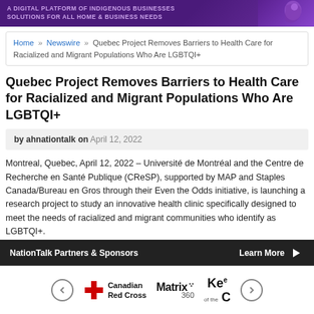[Figure (illustration): Purple banner with text 'A DIGITAL PLATFORM OF INDIGENOUS BUSINESSES SOLUTIONS FOR ALL HOME & BUSINESS NEEDS' and a decorative figure/logo on the right]
Home » Newswire » Quebec Project Removes Barriers to Health Care for Racialized and Migrant Populations Who Are LGBTQI+
Quebec Project Removes Barriers to Health Care for Racialized and Migrant Populations Who Are LGBTQI+
by ahnationtalk on April 12, 2022
Montreal, Quebec, April 12, 2022 – Université de Montréal and the Centre de Recherche en Santé Publique (CReSP), supported by MAP and Staples Canada/Bureau en Gros through their Even the Odds initiative, is launching a research project to study an innovative health clinic specifically designed to meet the needs of racialized and migrant communities who identify as LGBTQI+.
The first of its kind in Quebec, 'Clinic Mauve' was launched in Montréal
NationTalk Partners & Sponsors    Learn More →
[Figure (logo): Sponsor logos: Canadian Red Cross, Matrix 360, Kee of the C, with navigation arrows]